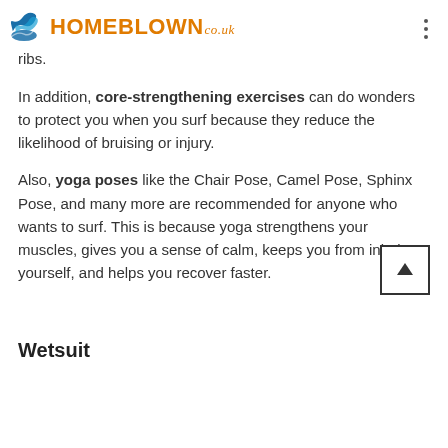HOMEBLOWN.co.uk
ribs.
In addition, core-strengthening exercises can do wonders to protect you when you surf because they reduce the likelihood of bruising or injury.
Also, yoga poses like the Chair Pose, Camel Pose, Sphinx Pose, and many more are recommended for anyone who wants to surf. This is because yoga strengthens your muscles, gives you a sense of calm, keeps you from injuring yourself, and helps you recover faster.
Wetsuit